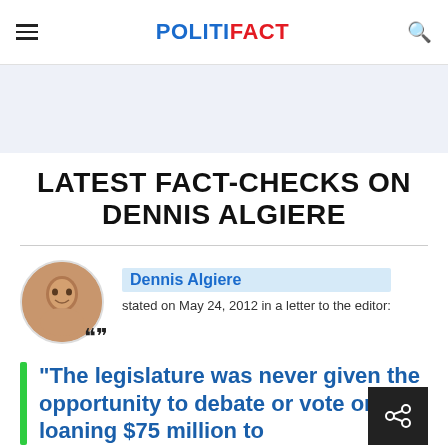POLITIFACT
LATEST FACT-CHECKS ON DENNIS ALGIERE
Dennis Algiere stated on May 24, 2012 in a letter to the editor:
"The legislature was never given the opportunity to debate or vote on loaning $75 million to